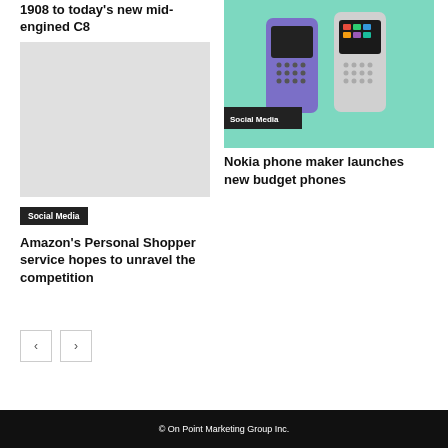1908 to today's new mid-engined C8
[Figure (photo): Empty placeholder image for left article]
Social Media
Amazon's Personal Shopper service hopes to unravel the competition
[Figure (photo): Nokia budget phones — two feature phones (purple and white/grey) against a mint green background, with Social Media badge overlay]
Nokia phone maker launches new budget phones
← (previous page button)
→ (next page button)
© On Point Marketing Group Inc.